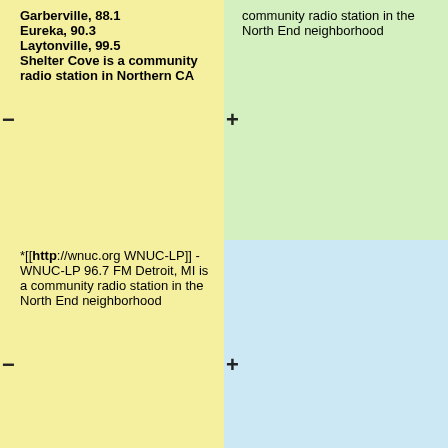Garberville, 88.1 Eureka, 90.3 Laytonville, 99.5 Shelter Cove is a community radio station in Northern CA
community radio station in the North End neighborhood
*[[http://wnuc.org WNUC-LP]] - WNUC-LP 96.7 FM Detroit, MI is a community radio station in the North End neighborhood
* [[https://www.graceradio.net/ KGCE-LP]] - KGCE-LP 107.9 FM Modesto, California &ldquo;GraceRadio&rdquo; is a Christian teaching and music station
* [[https://www.graceradio.net/ KGCE-LP]] - KGCE-LP 107.9 FM Modesto, California &ldquo;GraceRadio&rdquo; is a Christian teaching and music station
*[[https://www.wrfi.org/ WRFI]] - WRFI 88.1 FM Ithaca, 91.9 FM Watkins Glen, New York is Community Radio for...
*[[https://www.wrfi.org/ WRFI]] - WRFI 88.1 FM Ithaca, 91.9 FM Watkins Glen, New York is Community Radio for...